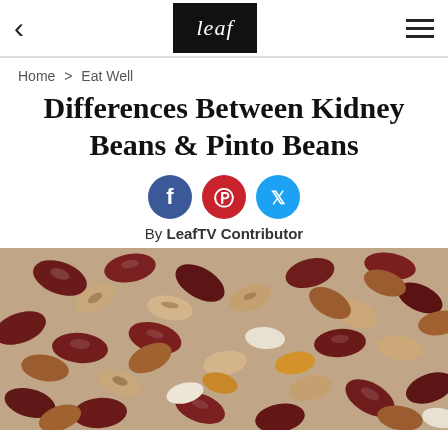leaf
Home > Eat Well
Differences Between Kidney Beans & Pinto Beans
[Figure (other): Social sharing icons: Facebook (blue circle), Pinterest (red circle), Twitter (light blue circle)]
By LeafTV Contributor
[Figure (photo): Close-up photo of a mix of various beans including kidney beans, pinto beans, and other varieties in different colors: dark red, tan, speckled, white, and orange.]